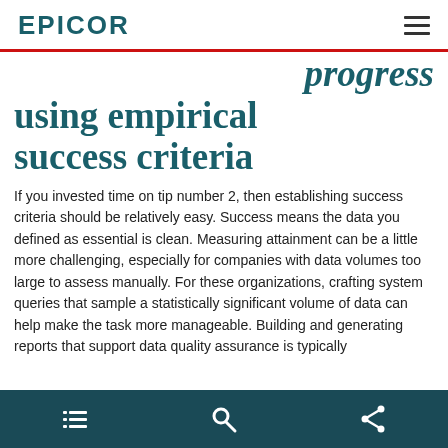EPICOR
progress using empirical success criteria
If you invested time on tip number 2, then establishing success criteria should be relatively easy. Success means the data you defined as essential is clean. Measuring attainment can be a little more challenging, especially for companies with data volumes too large to assess manually. For these organizations, crafting system queries that sample a statistically significant volume of data can help make the task more manageable. Building and generating reports that support data quality assurance is typically
[navigation icons: list, search, share]